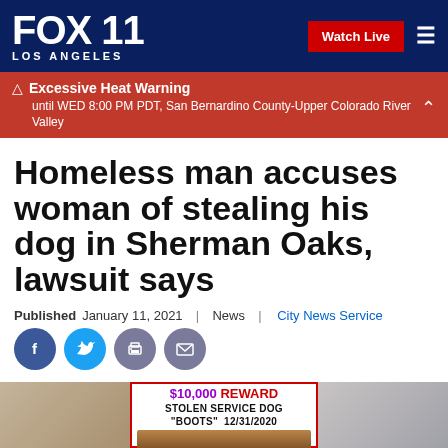FOX 11 LOS ANGELES | Watch Live
Excessive Heat Warning until WED 8:00 PM PDT, San Bernardino County-Upper Colorado River Valley
Homeless man accuses woman of stealing his dog in Sherman Oaks, lawsuit says
Published January 11, 2021 | News | City News Service
[Figure (other): Social media sharing icons: Facebook (blue circle), Twitter (light blue circle), Print (gray circle), Email (gray circle)]
[Figure (photo): Image showing a reward flyer for a stolen service dog named Boots, dated 12/31/2020, offering $10,000 reward. Flanked by partial photos on each side.]